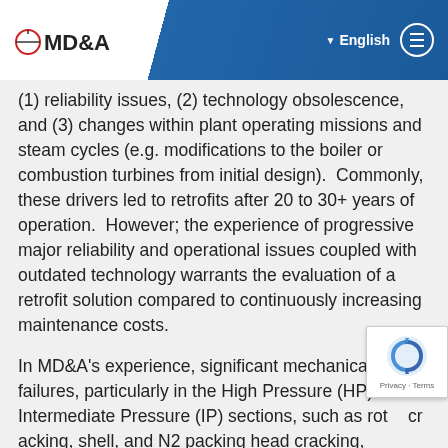MD&A | English
(1) reliability issues, (2) technology obsolescence, and (3) changes within plant operating missions and steam cycles (e.g. modifications to the boiler or combustion turbines from initial design). Commonly, these drivers led to retrofits after 20 to 30+ years of operation. However; the experience of progressive major reliability and operational issues coupled with outdated technology warrants the evaluation of a retrofit solution compared to continuously increasing maintenance costs.
In MD&A's experience, significant mechanical failures, particularly in the High Pressure (HP) and Intermediate Pressure (IP) sections, such as rotor cracking, shell, and N2 packing head cracking, continue to worsen in both severity of the defects as